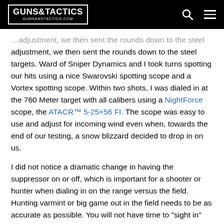GUNS&TACTICS GUNSANDTACTICS.COM
adjustment, we then sent the rounds down to the steel targets. Ward of Sniper Dynamics and I took turns spotting our hits using a nice Swarovski spotting scope and a Vortex spotting scope. Within two shots, I was dialed in at the 760 Meter target with all calibers using a NightForce scope, the ATACR™ 5-25×56 FI. The scope was easy to use and adjust for incoming wind even when, towards the end of our testing, a snow blizzard decided to drop in on us.
I did not notice a dramatic change in having the suppressor on or off, which is important for a shooter or hunter when dialing in on the range versus the field. Hunting varmint or big game out in the field needs to be as accurate as possible. You will not have time to "sight in" your gear and equipment when it's go time.